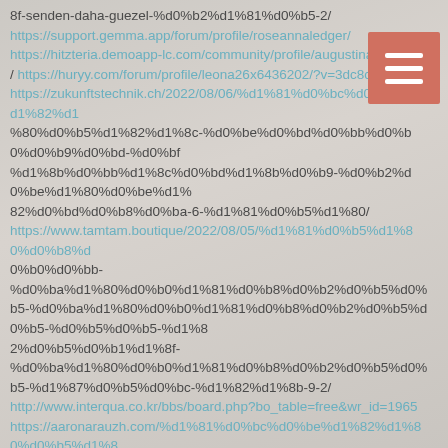8f-senden-daha-guezel-%d0%b2%d1%81%d0%b5-2/ https://support.gemma.app/forum/profile/roseannaledger/ https://hitzteria.demoapp-lc.com/community/profile/augustinaives/ https://huryy.com/forum/profile/leona26x6436202/?v=3dc8c843 https://zukunftstechnik.ch/2022/08/06/%d1%81%d0%bc%d0%be%d1%82%d1 %80%d0%b5%d1%82%d1%8c-%d0%be%d0%bd%d0%bb%d0%b0%d0%b9%d0%bd-%d0%bf%d1%8b%d0%bb%d1%8c%d0%bd%d1%8b%d0%b9-%d0%b2%d0%be%d1%80%d0%be%d1%82 82%d0%bd%d0%b8%d0%ba-6-%d1%81%d0%b5%d1%80/ https://www.tamtam.boutique/2022/08/05/%d1%81%d0%b5%d1%80%d0%b8%d 0%b0%d0%bb-%d0%ba%d1%80%d0%b0%d1%81%d0%b8%d0%b2%d0%b5%d0%b5-%d1%8 2%d0%b5%d0%b1%d1%8f-%d0%ba%d1%80%d0%b0%d1%81%d0%b8%d0%b2%d0%b5%d0%b5-%d1%87%d0%b5%d0%bc-%d1%82%d1%8b-9-2/ http://www.interqua.co.kr/bbs/board.php?bo_table=free&wr_id=1965 https://aaronarauzh.com/%d1%81%d0%bc%d0%be%d1%82%d1%8 0%d0%b5%d1%8 2%d1%8c-%d1%81%d0%b5%d1%80%d0%b8%d0%b0%d0%bb-%d0%ba%d1%80%d0%b0%d 1%81%d0%b8%d0%b2%d0%b5%d0%b5-%d1%82%d0%b5%d0%b1%d1%8f-%d0%ba%d1%8 0%d0%b0%d1%81%d0%b8%d0%b2-2/ https://thekey.my/%d1%82%d1%83%d1%80%d0%b5%d1%86%d0%ba%d0%b8%d0%b